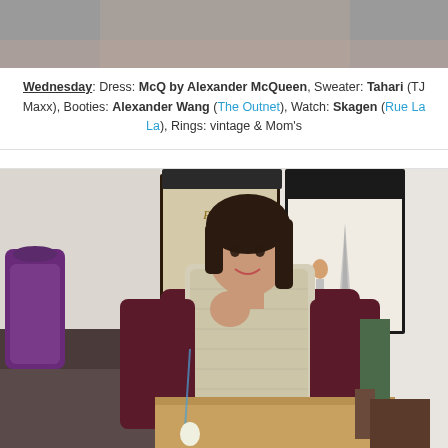[Figure (photo): Top portion of a fashion photo, cropped — partial view at top of page]
Wednesday: Dress: McQ by Alexander McQueen, Sweater: Tahari (TJ Maxx), Booties: Alexander Wang (The Outnet), Watch: Skagen (Rue La La), Rings: vintage & Mom's
[Figure (photo): Young woman wearing a burgundy sweater/cardigan and a cream faux-fur vest, posed in a room with framed Paris and Roma prints on the wall, and a wooden cabinet in the background. A purple handbag is visible on the left.]